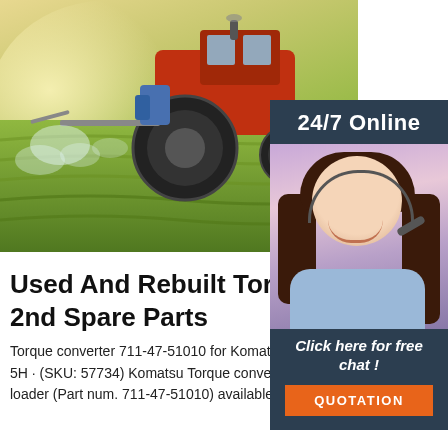[Figure (photo): Agricultural tractor spraying pesticide over a green crop field with bright sunlight.]
[Figure (photo): Customer service agent with headset smiling, shown in a dark blue sidebar panel with '24/7 Online' header, a 'Click here for free chat!' message, and an orange 'QUOTATION' button.]
Used And Rebuilt Torque Con... 2nd Spare Parts
Torque converter 711-47-51010 for Komatsu Wheel loader WA480-5H · (SKU: 57734) Komatsu Torque converter for WA480-5H Wheel loader (Part num. 711-47-51010) available in our SPAIN 's...